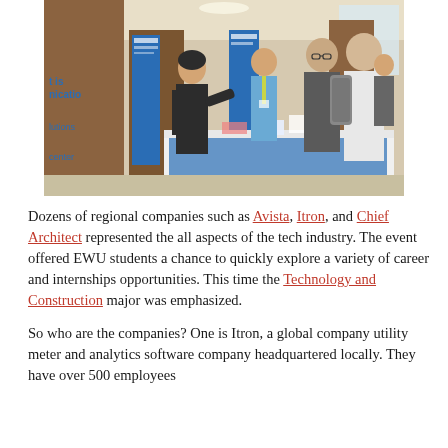[Figure (photo): A career fair scene inside a building. A woman in a dark jacket gestures while speaking with students at a booth. Blue banners are visible in the background. Students carry backpacks and browse company tables.]
Dozens of regional companies such as Avista, Itron, and Chief Architect represented the all aspects of the tech industry. The event offered EWU students a chance to quickly explore a variety of career and internships opportunities. This time the Technology and Construction major was emphasized.
So who are the companies? One is Itron, a global company utility meter and analytics software company headquartered locally. They have over 500 employees